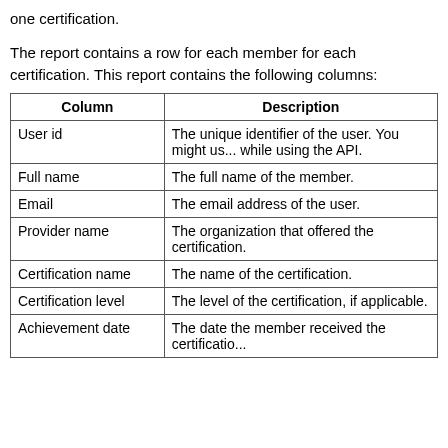one certification.
The report contains a row for each member for each certification. This report contains the following columns:
| Column | Description |
| --- | --- |
| User id | The unique identifier of the user. You might us... while using the API. |
| Full name | The full name of the member. |
| Email | The email address of the user. |
| Provider name | The organization that offered the certification. |
| Certification name | The name of the certification. |
| Certification level | The level of the certification, if applicable. |
| Achievement date | The date the member received the certificatio... |